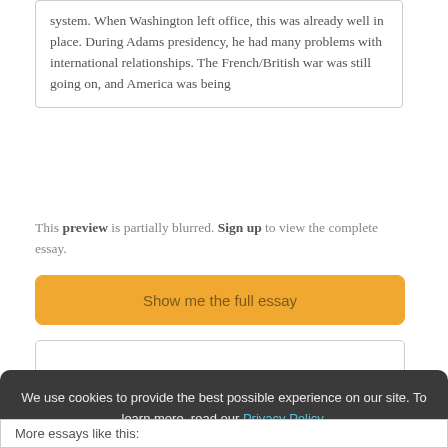system. When Washington left office, this was already well in place. During Adams presidency, he had many problems with international relationships. The French/British war was still going on, and America was being
This preview is partially blurred. Sign up to view the complete essay.
[Figure (other): Orange button labeled 'Show me the full essay']
[Figure (other): Empty text input box with border]
This is the end of the preview. Sign up to view the rest of the essay.
We use cookies to provide the best possible experience on our site. To learn more, read our Privacy Policy.
[Figure (other): Orange 'Got it' button]
More essays like this: